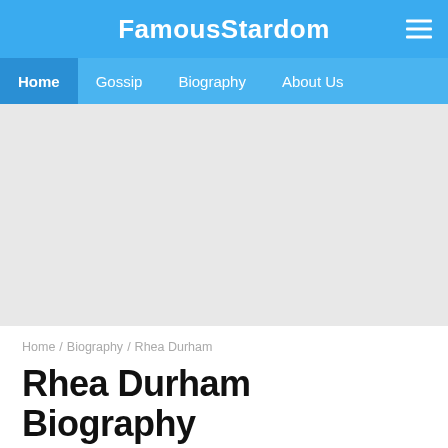FamousStardom
Home  Gossip  Biography  About Us
[Figure (other): Gray advertisement or image placeholder area]
Home / Biography / Rhea Durham
Rhea Durham Biography